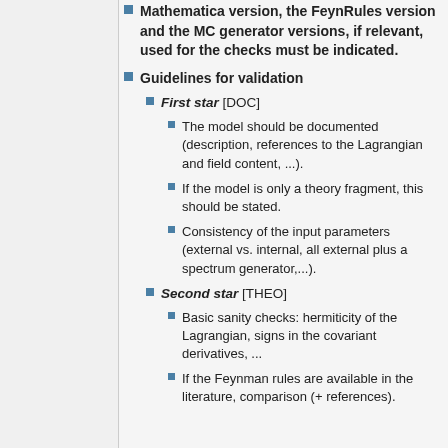Mathematica version, the FeynRules version and the MC generator versions, if relevant, used for the checks must be indicated.
Guidelines for validation
First star [DOC]
The model should be documented (description, references to the Lagrangian and field content, ...).
If the model is only a theory fragment, this should be stated.
Consistency of the input parameters (external vs. internal, all external plus a spectrum generator,...).
Second star [THEO]
Basic sanity checks: hermiticity of the Lagrangian, signs in the covariant derivatives, ...
If the Feynman rules are available in the literature, comparison (+ references).